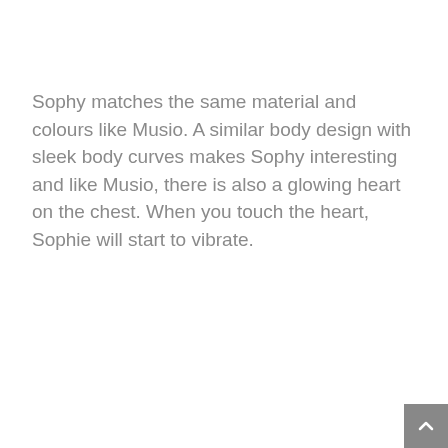Sophy matches the same material and colours like Musio. A similar body design with sleek body curves makes Sophy interesting and like Musio, there is also a glowing heart on the chest. When you touch the heart, Sophie will start to vibrate.